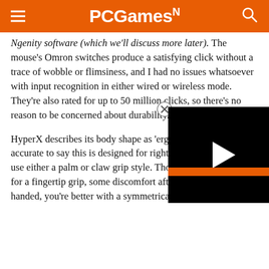PCGamesN
Ngenity software (which we'll discuss more later). The mouse's Omron switches produce a satisfying click without a trace of wobble or flimsiness, and I had no issues whatsoever with input recognition in either wired or wireless mode. They're also rated for up to 50 million clicks, so there's no reason to be concerned about durability.
HyperX describes its body shape as 'ergonomic' but it's more accurate to say this is designed for right handed players who use either a palm or claw grip style. Those with a preference for a fingertip grip, some discomfort after extended you're left handed, you're better with a symmetrical body.
[Figure (other): Embedded video player overlay (black rectangle with white play button triangle) partially covering the article text, with an orange bar at the bottom and a close button (circled X) at the top left of the overlay.]